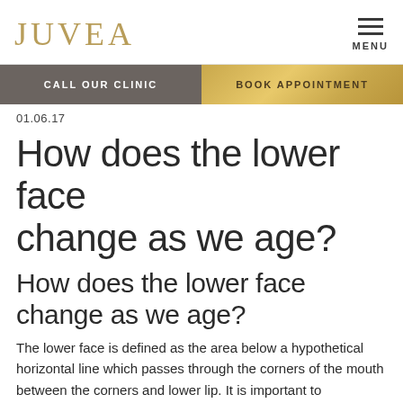JUVEA | MENU
CALL OUR CLINIC | BOOK APPOINTMENT
01.06.17
How does the lower face change as we age?
How does the lower face change as we age?
The lower face is defined as the area below a hypothetical horizontal line which passes through the corners of the mouth between the corners and lower lip. It is important to understand